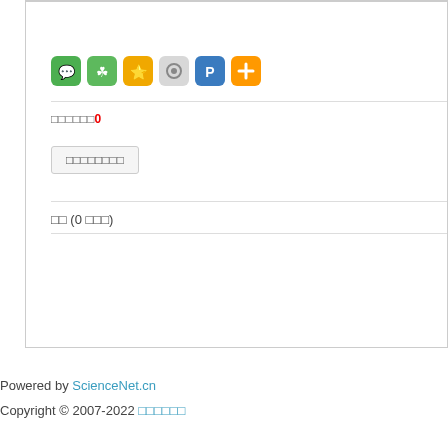[Figure (screenshot): Row of social sharing icons: WeChat (green), clover/lucky (green), Zan star (gold), Weibo (grey with eye), Pin (blue), Plus/more (orange)]
□□□□□□0
□□□□□□□□
□□ (0 □□□)
Powered by ScienceNet.cn
Copyright © 2007-2022 □□□□□□